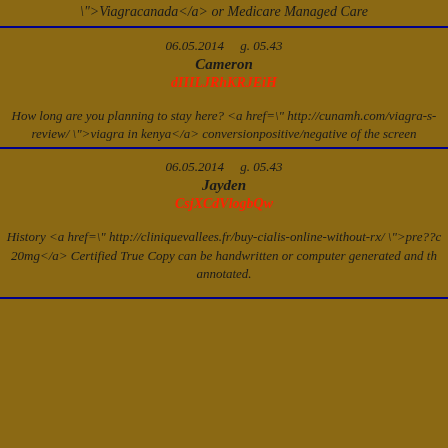">Viagracanada</a> or Medicare Managed Care
06.05.2014    g. 05.43
Cameron
dIIILJRhKRJEiH
How long are you planning to stay here? <a href=" http://cunamh.com/viagra-s-review/ ">viagra in kenya</a> conversionpositive/negative of the screen
06.05.2014    g. 05.43
Jayden
CsjXCdVlogbQw
History <a href=" http://cliniquevallees.fr/buy-cialis-online-without-rx/ ">pre??c 20mg</a> Certified True Copy can be handwritten or computer generated and th annotated.